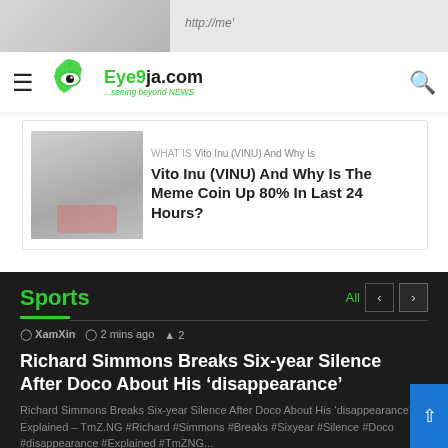Eye9ja.com - ...seeing beyond NEWS
Vito Inu (VINU) And Why Is The Meme Coin Up 80% In Last 24 Hours?
Sports
XamXin  2 mins ago  2
Richard Simmons Breaks Six-year Silence After Doco About His 'disappearance' Explained – TmZ.NG
Richard Simmons Breaks Six-year Silence After Doco About His 'disappearance' Explained – TmZ.NG #Richard #Simmons #Breaks #Sixyear #Silence #Doco #disappearance #Explained #TmZNG...